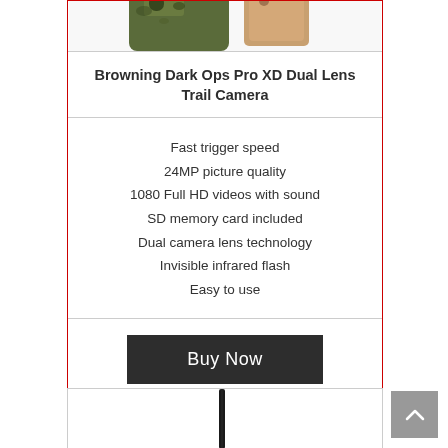[Figure (photo): Partial view of Browning Dark Ops Pro XD Dual Lens Trail Camera product image (cropped at top of page), showing camouflage and tan colored trail camera.]
Browning Dark Ops Pro XD Dual Lens Trail Camera
Fast trigger speed
24MP picture quality
1080 Full HD videos with sound
SD memory card included
Dual camera lens technology
Invisible infrared flash
Easy to use
[Figure (photo): Partial image of a second product (appears to be a long dark object, likely a firearm or hunting equipment) shown at the bottom of the page, cropped.]